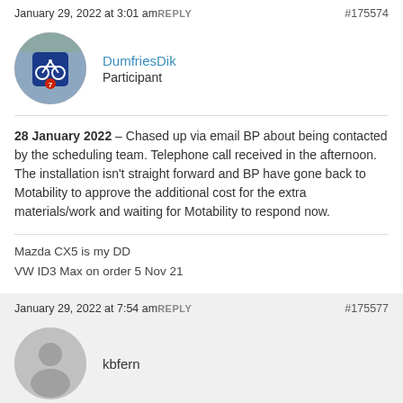January 29, 2022 at 3:01 am REPLY #175574
[Figure (photo): Circular avatar photo showing a blue cycling route sign with a bicycle icon and number 7, against a tree background]
DumfriesDik
Participant
28 January 2022 – Chased up via email BP about being contacted by the scheduling team. Telephone call received in the afternoon. The installation isn't straight forward and BP have gone back to Motability to approve the additional cost for the extra materials/work and waiting for Motability to respond now.
Mazda CX5 is my DD
VW ID3 Max on order 5 Nov 21
January 29, 2022 at 7:54 am REPLY #175577
[Figure (illustration): Circular grey placeholder avatar with a person silhouette icon]
kbfern